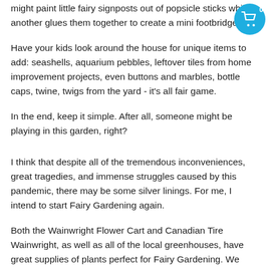[Figure (other): Shopping cart icon badge in teal/blue circle with number 0]
might paint little fairy signposts out of popsicle sticks while another glues them together to create a mini footbridge.
Have your kids look around the house for unique items to add: seashells, aquarium pebbles, leftover tiles from home improvement projects, even buttons and marbles, bottle caps, twine, twigs from the yard - it's all fair game.
In the end, keep it simple. After all, someone might be playing in this garden, right?
I think that despite all of the tremendous inconveniences, great tragedies, and immense struggles caused by this pandemic, there may be some silver linings. For me, I intend to start Fairy Gardening again.
Both the Wainwright Flower Cart and Canadian Tire Wainwright, as well as all of the local greenhouses, have great supplies of plants perfect for Fairy Gardening. We have all of our Fairy Garden accessories listed on our